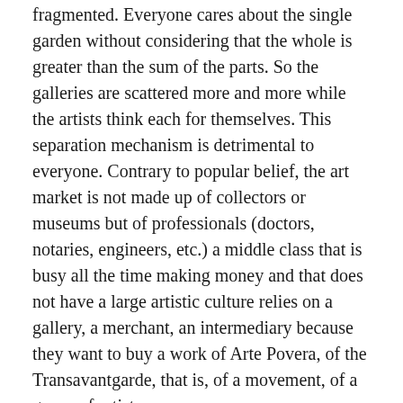fragmented. Everyone cares about the single garden without considering that the whole is greater than the sum of the parts. So the galleries are scattered more and more while the artists think each for themselves. This separation mechanism is detrimental to everyone. Contrary to popular belief, the art market is not made up of collectors or museums but of professionals (doctors, notaries, engineers, etc.) a middle class that is busy all the time making money and that does not have a large artistic culture relies on a gallery, a merchant, an intermediary because they want to buy a work of Arte Povera, of the Transavantgarde, that is, of a movement, of a group of artists.
RAW wants to bring artists together, to make them comparable. A feature that other operators in the sector, such as curators and gallery owners, also rejected. I'll give you an example. I am a gallery, I organize an event and I send my